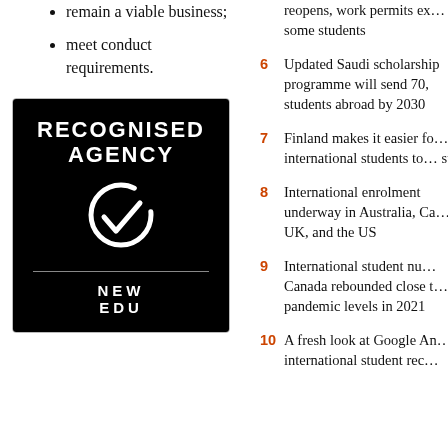remain a viable business;
meet conduct requirements.
[Figure (logo): RECOGNISED AGENCY badge with circular check logo and 'NEW EDU' text at bottom, black background]
6 reopens, work permits ex... some students
6 Updated Saudi scholarship programme will send 70, students abroad by 2030
7 Finland makes it easier fo... international students to... stay
8 International enrolment underway in Australia, Ca... UK, and the US
9 International student nu... Canada rebounded close t... pandemic levels in 2021
10 A fresh look at Google An... international student rec...